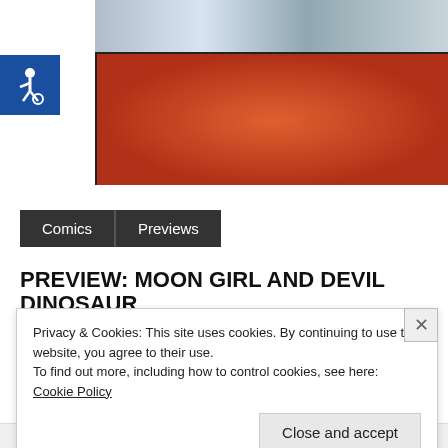[Figure (illustration): Comic book panels showing characters: top panel shows people in suits, bottom panel shows two characters - one with a green hood and black mask, another with blonde hair and a white mask, against a red background]
[Figure (illustration): Blue accessibility/wheelchair symbol badge on dark blue background]
Comics   Previews
PREVIEW: MOON GIRL AND DEVIL DINOSAUR
Privacy & Cookies: This site uses cookies. By continuing to use this website, you agree to their use.
To find out more, including how to control cookies, see here: Cookie Policy
Close and accept